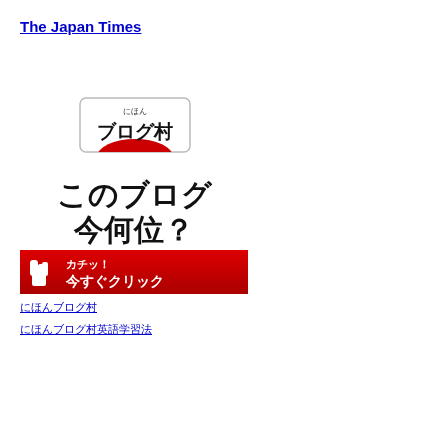The Japan Times
[Figure (illustration): Japanese blog ranking banner. Top section: white background with a rounded rectangle button labeled 'にほん ブログ村' (Nihon Blog Mura) in black text with a red semicircle/sun design at the bottom of the button. Middle section: white background with large black Japanese text reading 'このブログ 今何位？' (What rank is this blog?). Bottom section: red gradient background with white Japanese text 'カチッ！今すぐクリック' (Click now!) and a white hand/cursor icon pointing left.]
にほんブログ村
にほんブログ村英語学習法